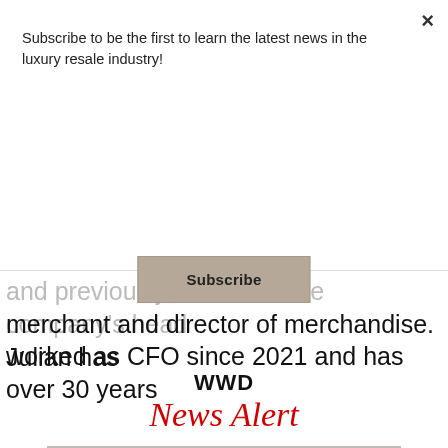Subscribe to be the first to learn the latest news in the luxury resale industry!
Subscribe
and previously served as the company's head merchant and director of merchandise. Julian has worked as CFO since 2021 and has over 30 years
WWD
News Alert
TUESDAY, JUNE 07
[Figure (photo): Black and white portrait photograph of a blonde woman smiling]